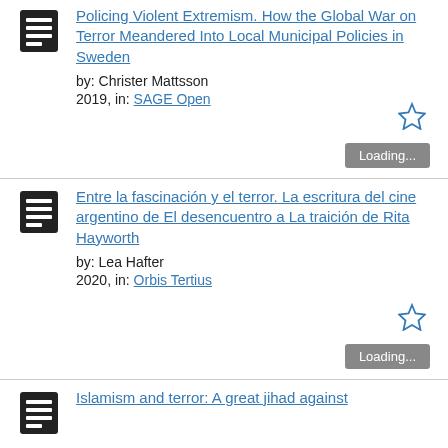Policing Violent Extremism. How the Global War on Terror Meandered Into Local Municipal Policies in Sweden by: Christer Mattsson 2019, in: SAGE Open
Entre la fascinación y el terror. La escritura del cine argentino de El desencuentro a La traición de Rita Hayworth by: Lea Hafter 2020, in: Orbis Tertius
Islamism and terror: A great jihad against the...